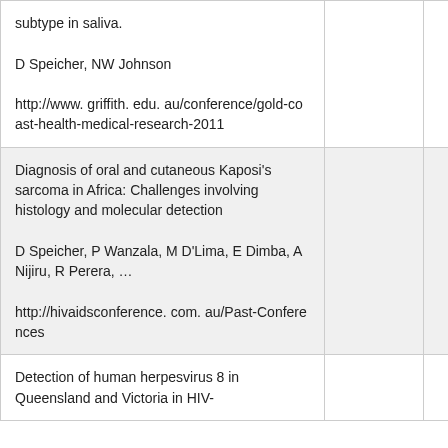| Title / Authors / URL |  | Year |
| --- | --- | --- |
| subtype in saliva.

D Speicher, NW Johnson

http://www. griffith. edu. au/conference/gold-coast-health-medical-research-2011 |  |  |
| Diagnosis of oral and cutaneous Kaposi's sarcoma in Africa: Challenges involving histology and molecular detection

D Speicher, P Wanzala, M D'Lima, E Dimba, A Nijiru, R Perera, …

http://hivaidsconference. com. au/Past-Conferences |  | 2011 |
| Detection of human herpesvirus 8 in Queensland and Victoria in HIV- |  | 2010 |